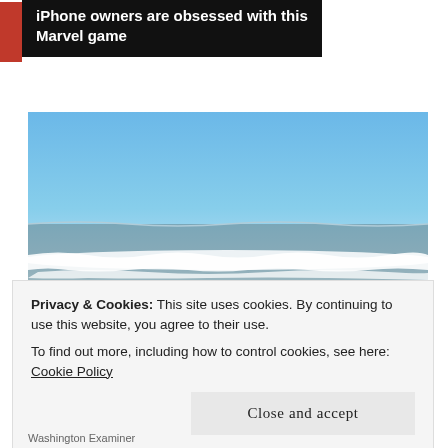[Figure (infographic): Advertisement banner with red mark on left, black background box reading 'iPhone owners are obsessed with this Marvel game']
[Figure (photo): Photograph of ocean beach scene with blue sky, waves breaking on shore, and sandy beach foreground]
Privacy & Cookies: This site uses cookies. By continuing to use this website, you agree to their use.
To find out more, including how to control cookies, see here: Cookie Policy
Close and accept
Washington Examiner